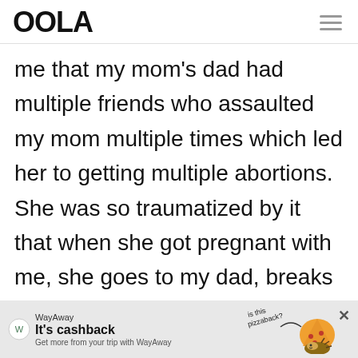OOLA
me that my mom's dad had multiple friends who assaulted my mom multiple times which led her to getting multiple abortions. She was so traumatized by it that when she got pregnant with me, she goes to my dad, breaks down crying and says she has an abortion scheduled
[Figure (infographic): WayAway advertisement banner: 'It's cashback - Get more from your trip with WayAway' with pizza illustration and 'is this pizzaback?' text]